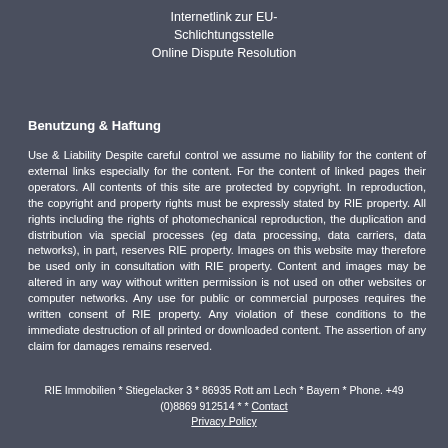Internetlink zur EU-Schlichtungsstelle
Online Dispute Resolution
Benutzung & Haftung
Use & Liability Despite careful control we assume no liability for the content of external links especially for the content. For the content of linked pages their operators. All contents of this site are protected by copyright. In reproduction, the copyright and property rights must be expressly stated by RIE property. All rights including the rights of photomechanical reproduction, the duplication and distribution via special processes (eg data processing, data carriers, data networks), in part, reserves RIE property. Images on this website may therefore be used only in consultation with RIE property. Content and images may be altered in any way without written permission is not used on other websites or computer networks. Any use for public or commercial purposes requires the written consent of RIE property. Any violation of these conditions to the immediate destruction of all printed or downloaded content. The assertion of any claim for damages remains reserved.
RIE Immobilien * Stiegelacker 3 * 86935 Rott am Lech * Bayern * Phone. +49 (0)8869 912514 * * Contact
Privacy Policy